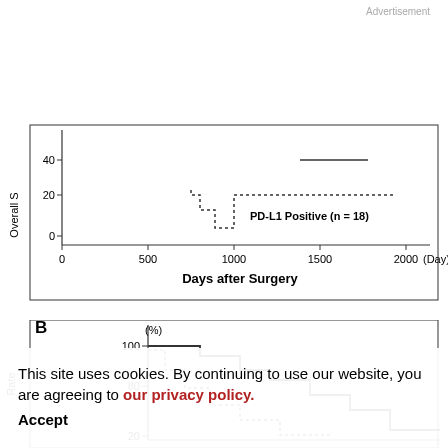Advertisement
[Figure (continuous-plot): Kaplan-Meier overall survival curve for PD-L1 Positive (n=18) group. X-axis: Days after Surgery (0 to 2000). Y-axis: Overall Survival (%). Dotted step-down line starting near 40% around day 750, dropping to ~20% by day 1000, then flat to ~day 1750.]
[Figure (continuous-plot): Kaplan-Meier survival rate curve (partial, clipped). Y-axis: Rate (%). Shows 100% and 80% tick marks visible. Two lines: solid and dotted step curves declining. PD-L1 Negative (n=23) label partially visible. Overall Survival label on left axis partially visible. Value 20 on y-axis visible at bottom.]
This site uses cookies. By continuing to use our website, you are agreeing to our privacy policy.
Accept